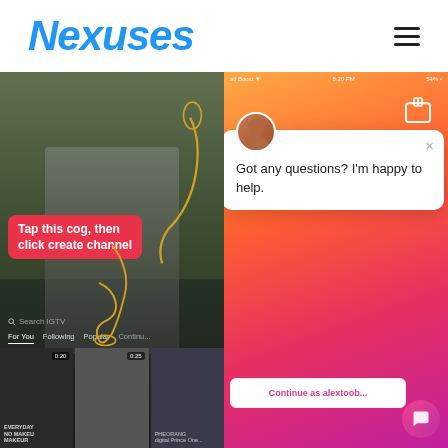Nexuses
[Figure (screenshot): Left: IGTV app screenshot showing 'Tap this cog, then click create channel' overlay on a video. Right: Instagram IGTV app screenshot with a chat popup saying 'Got any questions? I'm happy to help.' and a 'Continue as alextoob' button.]